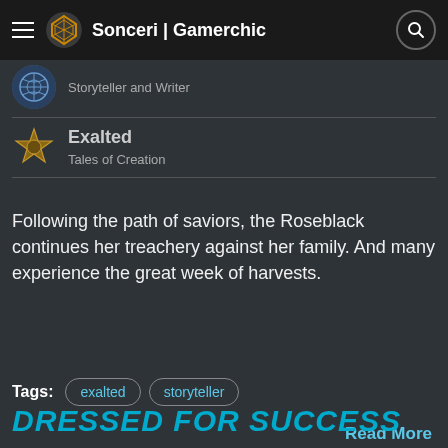Sonceri | Gamerchic
Storyteller and Writer
Exalted
Tales of Creation
Following the path of saviors, the Roseblack continues her treachery against her family. And many experience the great week of harvests.
Tags: exalted storyteller
Read More
DRESSED FOR SUCCESS